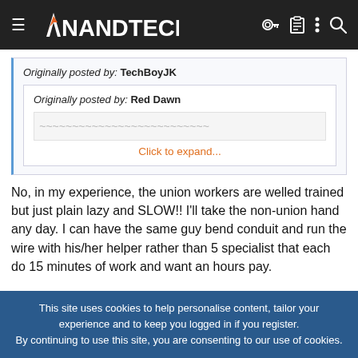AnandTech
Originally posted by: TechBoyJK
  Originally posted by: Red Dawn
  Click to expand...
No, in my experience, the union workers are welled trained but just plain lazy and SLOW!! I'll take the non-union hand any day. I can have the same guy bend conduit and run the wire with his/her helper rather than 5 specialist that each do 15 minutes of work and want an hours pay.
This site uses cookies to help personalise content, tailor your experience and to keep you logged in if you register.
By continuing to use this site, you are consenting to our use of cookies.